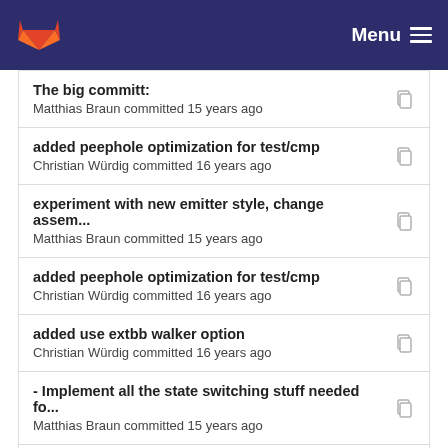GitLab — Menu
The big committ:
Matthias Braun committed 15 years ago
added peephole optimization for test/cmp
Christian Würdig committed 16 years ago
experiment with new emitter style, change assem...
Matthias Braun committed 15 years ago
added peephole optimization for test/cmp
Christian Würdig committed 16 years ago
added use extbb walker option
Christian Würdig committed 16 years ago
- Implement all the state switching stuff needed fo...
Matthias Braun committed 15 years ago
The big committ:
Matthias Braun committed 15 years ago
Imprint